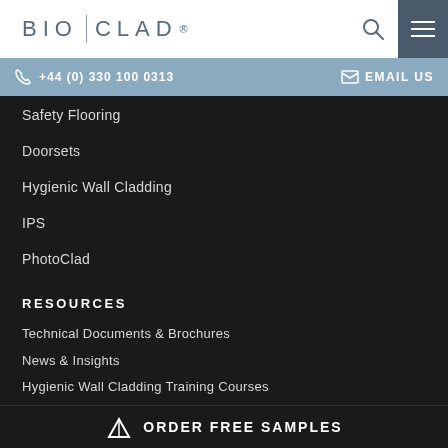BIO | CLAD®
+44 (0) 330 100 0313   EMAIL US
Safety Flooring
Doorsets
Hygienic Wall Cladding
IPS
PhotoClad
RESOURCES
Technical Documents & Brochures
News & Insights
Hygienic Wall Cladding Training Courses
T&C's
ORDER FREE SAMPLES